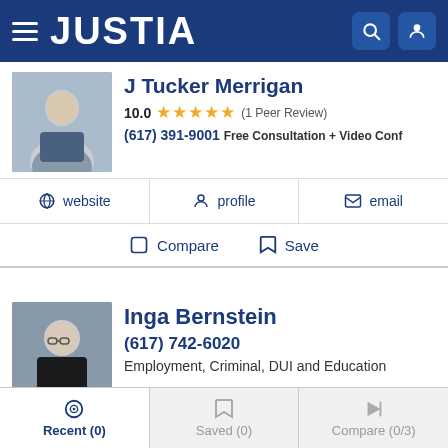JUSTIA
J Tucker Merrigan
10.0 ★★★★★ (1 Peer Review)
(617) 391-9001 Free Consultation + Video Conf
website
profile
email
Compare
Save
Inga Bernstein
(617) 742-6020
Employment, Criminal, DUI and Education
website
profile
email
Compare
Save
Recent (0)   Saved (0)   Compare (0/3)